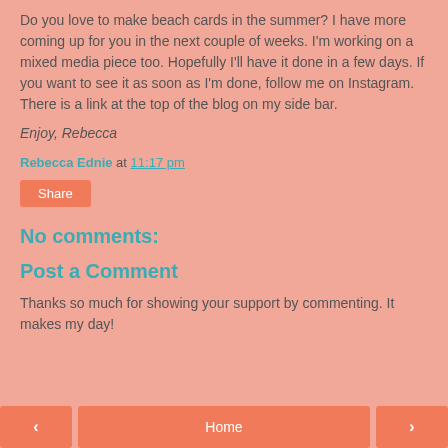Do you love to make beach cards in the summer? I have more coming up for you in the next couple of weeks. I'm working on a mixed media piece too. Hopefully I'll have it done in a few days. If you want to see it as soon as I'm done, follow me on Instagram. There is a link at the top of the blog on my side bar.
Enjoy, Rebecca
Rebecca Ednie at 11:17 pm
Share
No comments:
Post a Comment
Thanks so much for showing your support by commenting. It makes my day!
< Home >